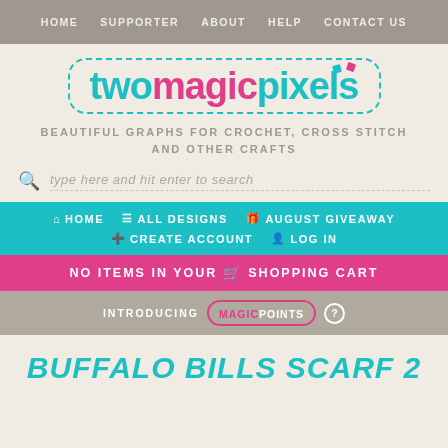HOME  SUPPORTER  ABOUT  HELP  CONTACT US
[Figure (logo): twomagicpixels logo in teal and pink text inside a dashed teal border rounded rectangle]
BEAUTIFUL GRAPHS FOR CROCHET, CROSS STITCH AND OTHER CRAFTS
type here and hit enter to search
HOME  ALL DESIGNS  AUGUST GIVEAWAY  CREATE ACCOUNT  LOG IN
NO ITEMS IN YOUR SHOPPING CART
INTRODUCING MAGICPOINTS ?
BUFFALO BILLS SCARF 2